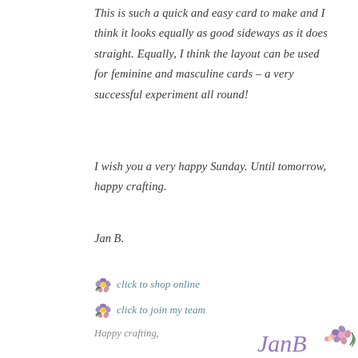This is such a quick and easy card to make and I think it looks equally as good sideways as it does straight. Equally, I think the layout can be used for feminine and masculine cards – a very successful experiment all round!
I wish you a very happy Sunday. Until tomorrow, happy crafting.
Jan B.
click to shop online
click to join my team
Happy crafting,
[Figure (illustration): Handwritten script signature reading 'JanB' with a decorative purple floral illustration]